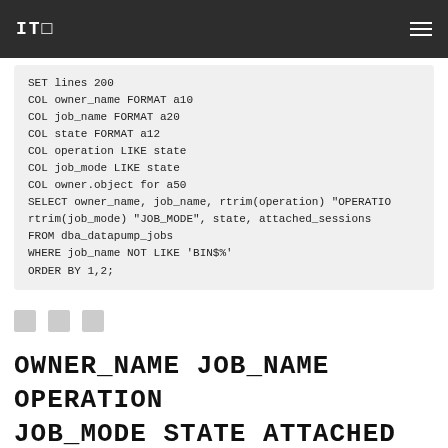IT□
SET lines 200
COL owner_name FORMAT a10
COL job_name FORMAT a20
COL state FORMAT a12
COL operation LIKE state
COL job_mode LIKE state
COL owner.object for a50
SELECT owner_name, job_name, rtrim(operation) "OPERATIO
rtrim(job_mode) "JOB_MODE", state, attached_sessions
FROM dba_datapump_jobs
WHERE job_name NOT LIKE 'BIN$%'
ORDER BY 1,2;
□ □ □
OWNER_NAME JOB_NAME OPERATION
JOB_MODE STATE ATTACHED